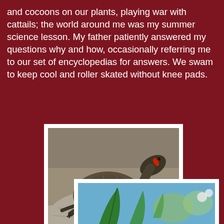and cocoons on our plants, playing war with cattails; the world around me was my summer science lesson. My father patiently answered my questions why and how, occasionally referring me to our set of encyclopedias for answers. We swam to keep cool and roller skated without knee pads.
[Figure (photo): A red-eared slider turtle basking on a rock near water, viewed from the side. The turtle has a dark shell with visible scutes, a red stripe behind its eye, and orange markings on its neck.]
[Figure (photo): Close-up of green plant leaves with a blue sky and small white flowers visible in the background, partially cropped at the bottom of the page.]